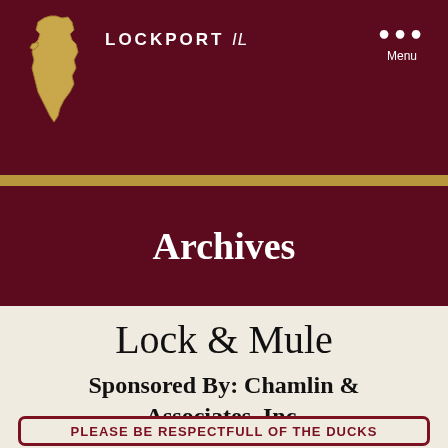LOCKPORT IL — Menu
Archives
Lock & Mule
Sponsored By: Chamlin & Associates, Inc.
PLEASE BE RESPECTFULL OF THE DUCKS